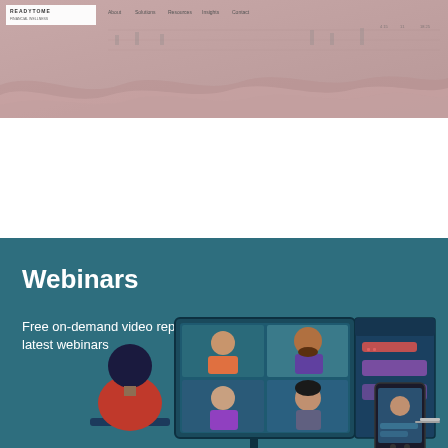[Figure (screenshot): Website header banner with wavy pink/mauve background, logo in top left, and navigation links]
[Figure (illustration): Teal/dark blue section with webinar illustration showing a person at a computer participating in a video conference with multiple participants on screen and a chat panel]
Webinars
Free on-demand video replays of our latest webinars